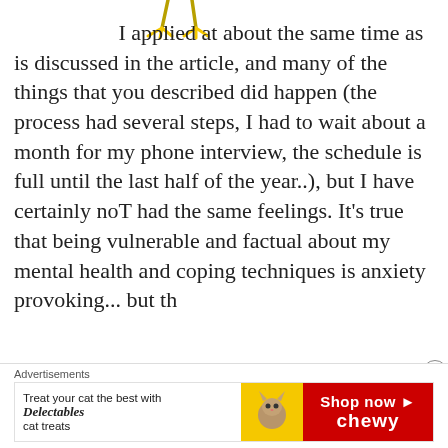[Figure (illustration): Small cartoon duck feet/legs icon at top center of the page]
I applied at about the same time as is discussed in the article, and many of the things that you described did happen (the process had several steps, I had to wait about a month for my phone interview, the schedule is full until the last half of the year..), but I have certainly noT had the same feelings. It's true that being vulnerable and factual about my mental health and coping techniques is anxiety provoking... but th
Advertisements
[Figure (other): Advertisement banner: Treat your cat the best with Delectables cat treats — Shop now — Chewy. Features a cat image and yellow/red color scheme with Chewy branding.]